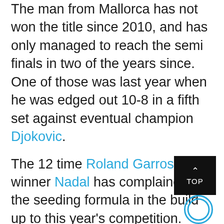The man from Mallorca has not won the title since 2010, and has only managed to reach the semi finals in two of the years since. One of those was last year when he was edged out 10-8 in a fifth set against eventual champion Djokovic.
The 12 time Roland Garros winner Nadal has complained of the seeding formula in the build up to this year's competition. Despite being ranked second in the world, due to past grass performances Roger Federer has passed him to the second seed spot. This has left Nadal with what many consider to be a very tough draw. Kyrgios, Shapovalov, Tsonga, Cilic, Thiem and Federer are all potential opponents further down the line.